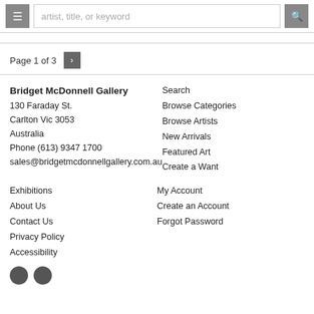artist, title, or keyword [search bar with menu and search buttons]
Page 1 of 3
Bridget McDonnell Gallery
130 Faraday St.
Carlton Vic 3053
Australia
Phone (613) 9347 1700
sales@bridgetmcdonnellgallery.com.au
Search
Browse Categories
Browse Artists
New Arrivals
Featured Art
Create a Want
Exhibitions
About Us
Contact Us
Privacy Policy
Accessibility
My Account
Create an Account
Forgot Password